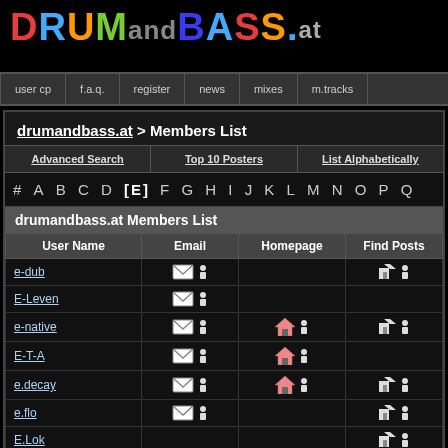[Figure (logo): DRUMANDBASS.AT colorful logo on black background]
user cp | f.a.q. | register | news | mixes | m.tracks
drumandbass.at > Members List
Advanced Search | Top 10 Posters | List Alphabetically
# A B C D [E] F G H I J K L M N O P Q
drumandbass.at Members List
| User Name | Email | Homepage | Find Posts |
| --- | --- | --- | --- |
| e-dub | [email icon] |  | [posts icon] |
| E-Leven | [email icon] |  |  |
| e-native | [email icon] | [home icon] | [posts icon] |
| E-T-A | [email icon] | [home icon] |  |
| e.decay | [email icon] | [home icon] | [posts icon] |
| e.flo | [email icon] |  | [posts icon] |
| E.Lok |  |  | [posts icon] |
| E.P.Vienna |  |  |  |